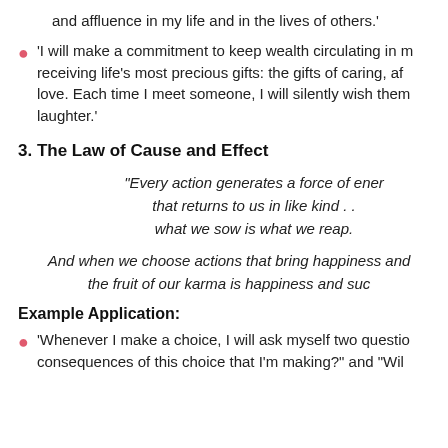and affluence in my life and in the lives of others.'
'I will make a commitment to keep wealth circulating in my life by giving and receiving life's most precious gifts: the gifts of caring, affection, appreciation and love. Each time I meet someone, I will silently wish them happiness, joy and laughter.'
3. The Law of Cause and Effect
“Every action generates a force of energy that returns to us in like kind . . what we sow is what we reap.
And when we choose actions that bring happiness and success to others, the fruit of our karma is happiness and success.
Example Application:
'Whenever I make a choice, I will ask myself two questions: "What are the consequences of this choice that I'm making?" and "Will